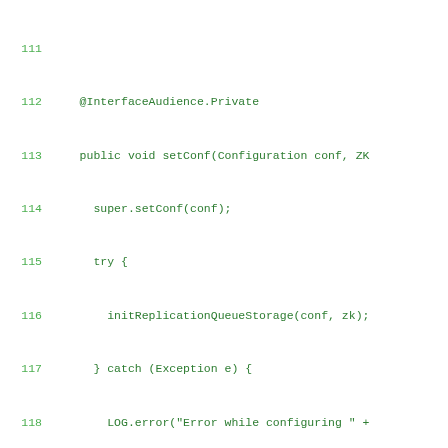[Figure (screenshot): Source code screenshot showing Java methods: setConf, initReplicationQueueStorage, and stop, with line numbers 111-139, displayed in green monospace font on white background.]